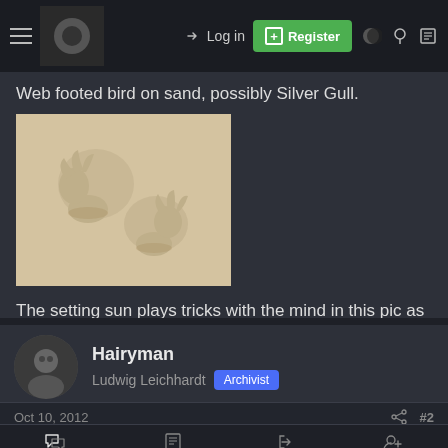Log in | Register
Web footed bird on sand, possibly Silver Gull.
[Figure (photo): Bird footprints in sand, showing web-footed tracks, two distinct impressions visible.]
The setting sun plays tricks with the mind in this pic as sometimes these footprints seem to be coming out of the sand.
Hairyman
Ludwig Leichhardt  Archivist
Oct 10, 2012  #2
Forums  What's New  Log In  Register